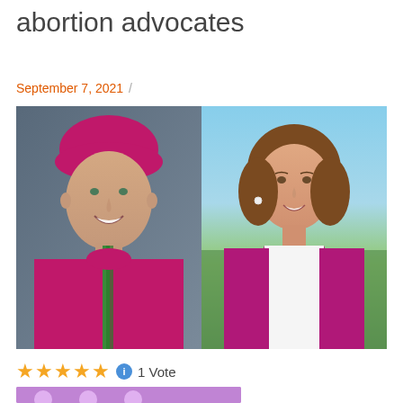abortion advocates
September 7, 2021 /
[Figure (photo): Side-by-side composite photo: on the left, a Catholic bishop wearing magenta vestments and zucchetto with a green stole, smiling, against a dark gray background; on the right, a woman with brown hair wearing a magenta blazer over a white top, smiling, with the Washington Monument and DC skyline visible in the background.]
★★★★★ ℹ 1 Vote
[Figure (photo): Partial view of a purple-background image with circular elements at the bottom of the page.]